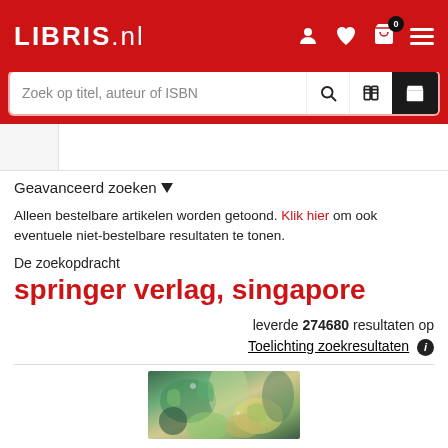LIBRIS.nl
Zoek op titel, auteur of ISBN
Geavanceerd zoeken ▾
Alleen bestelbare artikelen worden getoond. Klik hier om ook eventuele niet-bestelbare resultaten te tonen.
De zoekopdracht
springer verlag, singapore
leverde 274680 resultaten op
Toelichting zoekresultaten ℹ
[Figure (illustration): Colorful illustrated book cover thumbnail with geometric/abstract leaf and shape pattern in greens, yellows, and beige tones.]